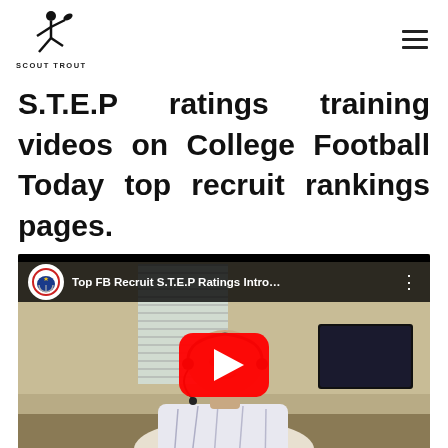SCOUT TROUT
S.T.E.P ratings training videos on College Football Today top recruit rankings pages.
[Figure (screenshot): YouTube video thumbnail showing a man with a headset microphone in a room. Video title: 'Top FB Recruit S.T.E.P Ratings Intro...' with a red YouTube play button overlay. College Football Today logo in top-left corner.]